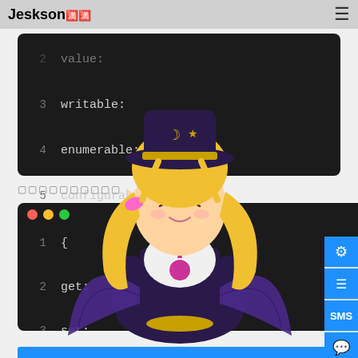Jeskson🈵🈵 ☰
[Figure (screenshot): Dark code editor block showing lines 2-6 of a JavaScript property descriptor object with properties: value:, writable:, enumerable:, configurable:, and closing brace]
🔲🔲🔲🔲🔲🔲🔲🔲🔲🔲
[Figure (screenshot): Dark terminal/code editor with traffic light buttons showing lines 1-6 of a JavaScript accessor property descriptor with get:, set:, enumerable:, configurable: properties, overlaid with an anime character illustration]
[Figure (illustration): Anime girl character with blonde twin-tails, dark hat with moon and star decorations, purple bat wings, white top with pink accents, dark corset outfit]